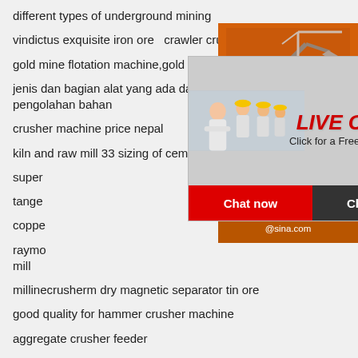different types of underground mining
vindictus exquisite iron ore   crawler crusher price
gold mine flotation machine,gold mine machine
jenis dan bagian alat yang ada dalam crusher pengolahan bahan
crusher machine price nepal
kiln and raw mill 33 sizing of cement rotary kil
super
tange
coppe
raymo mill
millinecrusherm dry magnetic separator tin ore
good quality for hammer crusher machine
aggregate crusher feeder
design of machine elements by khurmi pdf 4s
construction planning equipment and methods tph edition
[Figure (screenshot): Live chat popup overlay with workers in hard hats, red LIVE CHAT text, 'Click for a Free Consultation', Chat now and Chat later buttons]
[Figure (screenshot): Orange sidebar with mining machinery images, Enjoy 3% discount bar, Click to Chat bar, Enquiry section, and limingjlmofen@sina.com email]